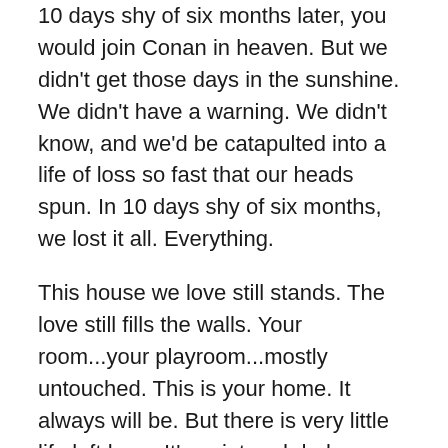10 days shy of six months later, you would join Conan in heaven. But we didn't get those days in the sunshine. We didn't have a warning. We didn't know, and we'd be catapulted into a life of loss so fast that our heads spun. In 10 days shy of six months, we lost it all. Everything.
This house we love still stands. The love still fills the walls. Your room...your playroom...mostly untouched. This is your home. It always will be. But there is very little life left here. It's quiet and dark. (Painfully quiet.) It's sad and lonely. Your presence – both of yours – is everywhere. Every claw mark in the hard wood. Every growth chart pencil mark on the wall. Every bite marked pillow case (his, not